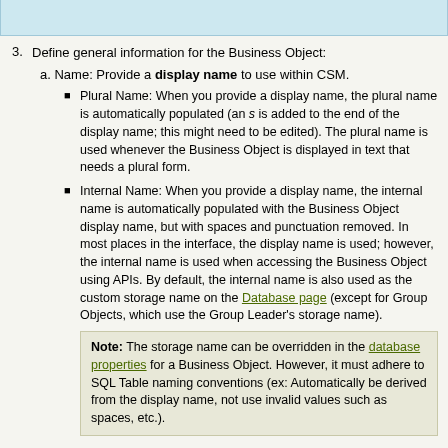[Figure (other): Top decorative banner strip with light blue background]
3. Define general information for the Business Object:
a. Name: Provide a display name to use within CSM.
Plural Name: When you provide a display name, the plural name is automatically populated (an s is added to the end of the display name; this might need to be edited). The plural name is used whenever the Business Object is displayed in text that needs a plural form.
Internal Name: When you provide a display name, the internal name is automatically populated with the Business Object display name, but with spaces and punctuation removed. In most places in the interface, the display name is used; however, the internal name is used when accessing the Business Object using APIs. By default, the internal name is also used as the custom storage name on the Database page (except for Group Objects, which use the Group Leader's storage name).
Note: The storage name can be overridden in the database properties for a Business Object. However, it must adhere to SQL Table naming conventions (ex: Automatically be derived from the display name, not use invalid values such as spaces, etc.).